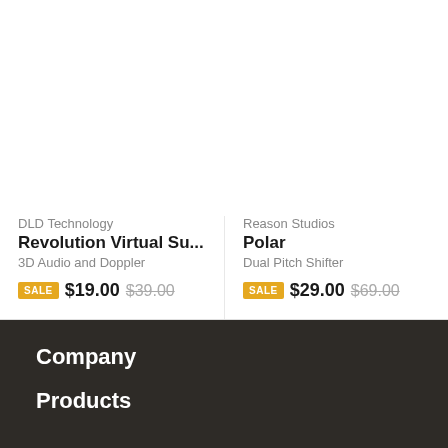DLD Technology
Revolution Virtual Su...
3D Audio and Doppler
SALE $19.00 $39.00
Reason Studios
Polar
Dual Pitch Shifter
SALE $29.00 $69.00
Company
Products